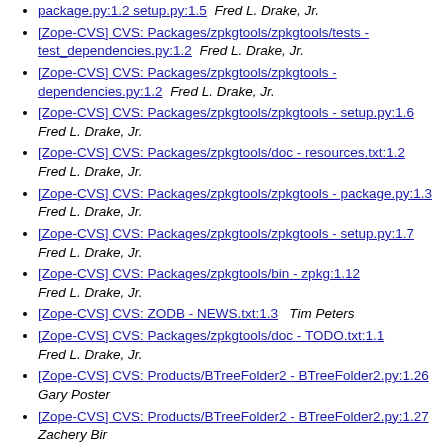[Zope-CVS] CVS: Packages/zpkgtools/zpkgtools - package.py:1.2 setup.py:1.5  Fred L. Drake, Jr.
[Zope-CVS] CVS: Packages/zpkgtools/zpkgtools/tests - test_dependencies.py:1.2  Fred L. Drake, Jr.
[Zope-CVS] CVS: Packages/zpkgtools/zpkgtools - dependencies.py:1.2  Fred L. Drake, Jr.
[Zope-CVS] CVS: Packages/zpkgtools/zpkgtools - setup.py:1.6  Fred L. Drake, Jr.
[Zope-CVS] CVS: Packages/zpkgtools/doc - resources.txt:1.2  Fred L. Drake, Jr.
[Zope-CVS] CVS: Packages/zpkgtools/zpkgtools - package.py:1.3  Fred L. Drake, Jr.
[Zope-CVS] CVS: Packages/zpkgtools/zpkgtools - setup.py:1.7  Fred L. Drake, Jr.
[Zope-CVS] CVS: Packages/zpkgtools/bin - zpkg:1.12  Fred L. Drake, Jr.
[Zope-CVS] CVS: ZODB - NEWS.txt:1.3   Tim Peters
[Zope-CVS] CVS: Packages/zpkgtools/doc - TODO.txt:1.1  Fred L. Drake, Jr.
[Zope-CVS] CVS: Products/BTreeFolder2 - BTreeFolder2.py:1.26  Gary Poster
[Zope-CVS] CVS: Products/BTreeFolder2 - BTreeFolder2.py:1.27  Zachery Bir
[Zope-CVS] CVS: Products/Ape/lib/apelib/core - interfaces.py:1.12  Shane Hathaway
[Zope-CVS] CVS: Products/Ape/lib/apelib/core - io.py:1.9